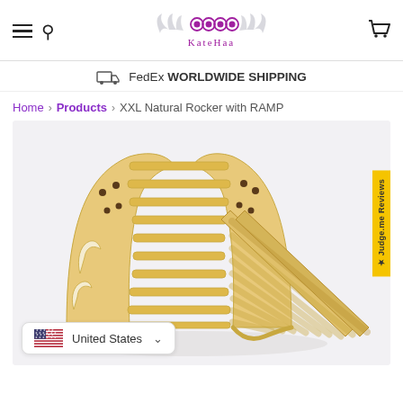KateHaa — navigation header with hamburger menu, search, logo, and cart icon
FedEx WORLDWIDE SHIPPING
Home > Products > XXL Natural Rocker with RAMP
[Figure (photo): A wooden XXL Natural Rocker with RAMP — a Pikler-style arch climbing toy made of light birch plywood, with an attached ramp/slide, photographed on a white/light grey background. A 'Judge.me Reviews' yellow vertical tab is visible on the right side of the image. A country selector showing 'United States' with a US flag and dropdown chevron is in the bottom-left corner of the image.]